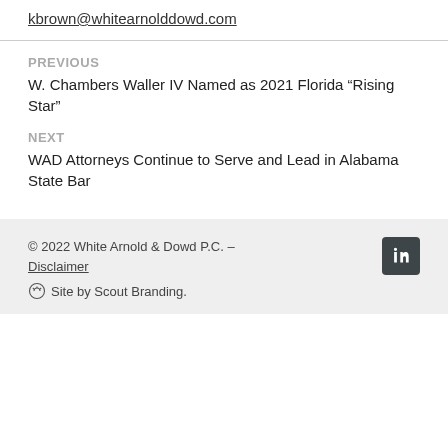kbrown@whitearnolddowd.com
PREVIOUS
W. Chambers Waller IV Named as 2021 Florida “Rising Star”
NEXT
WAD Attorneys Continue to Serve and Lead in Alabama State Bar
© 2022 White Arnold & Dowd P.C. – Disclaimer
⌘ Site by Scout Branding.